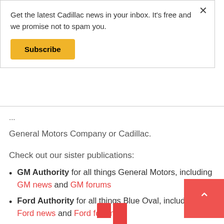Get the latest Cadillac news in your inbox. It's free and we promise not to spam you.
Subscribe
General Motors Company or Cadillac.
Check out our sister publications:
GM Authority for all things General Motors, including GM news and GM forums
Ford Authority for all things Blue Oval, including Ford news and Ford forums